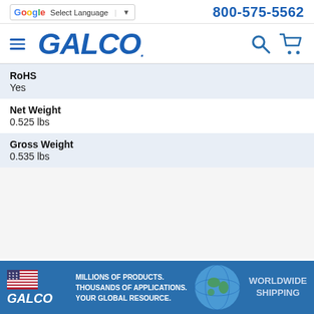[Figure (screenshot): Galco website header with Google Translate button, phone number 800-575-5562, Galco logo, hamburger menu, search icon, and cart icon]
| Attribute | Value |
| --- | --- |
| RoHS | Yes |
| Net Weight | 0.525 lbs |
| Gross Weight | 0.535 lbs |
[Figure (infographic): Galco footer banner: MILLIONS OF PRODUCTS. THOUSANDS OF APPLICATIONS. YOUR GLOBAL RESOURCE. WORLDWIDE SHIPPING with globe image and US flag]